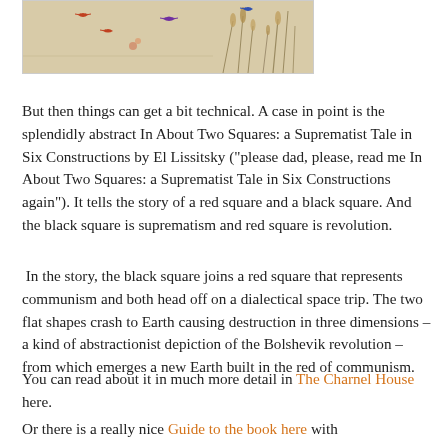[Figure (illustration): Partial view of an illustrated/painted image with birds and floral elements on a light background, framed with a thin border.]
But then things can get a bit technical. A case in point is the splendidly abstract In About Two Squares: a Suprematist Tale in Six Constructions by El Lissitsky ("please dad, please, read me In About Two Squares: a Suprematist Tale in Six Constructions again"). It tells the story of a red square and a black square. And the black square is suprematism and red square is revolution.
In the story, the black square joins a red square that represents communism and both head off on a dialectical space trip. The two flat shapes crash to Earth causing destruction in three dimensions – a kind of abstractionist depiction of the Bolshevik revolution – from which emerges a new Earth built in the red of communism.
You can read about it in much more detail in The Charnel House here.
Or there is a really nice Guide to the book here with